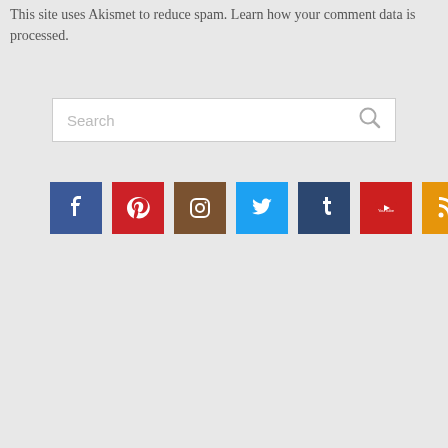This site uses Akismet to reduce spam. Learn how your comment data is processed.
[Figure (screenshot): Search bar with placeholder text 'Search' and a magnifying glass icon on the right]
[Figure (infographic): Row of 7 social media icon buttons: Facebook (blue), Pinterest (red), Instagram (brown), Twitter (light blue), Tumblr (dark blue), YouTube (red), RSS (orange)]